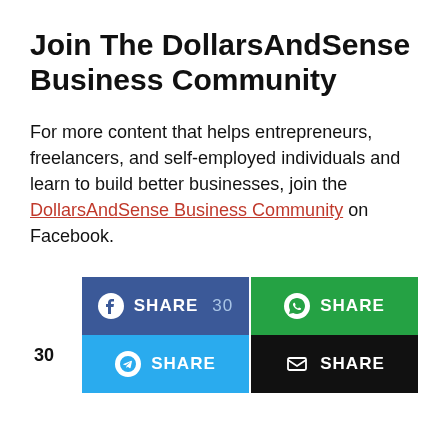Join The DollarsAndSense Business Community
For more content that helps entrepreneurs, freelancers, and self-employed individuals and learn to build better businesses, join the DollarsAndSense Business Community on Facebook.
[Figure (infographic): Social share buttons: Facebook SHARE 30, WhatsApp SHARE, Telegram SHARE, Email SHARE. A count of 30 is shown on the left side.]